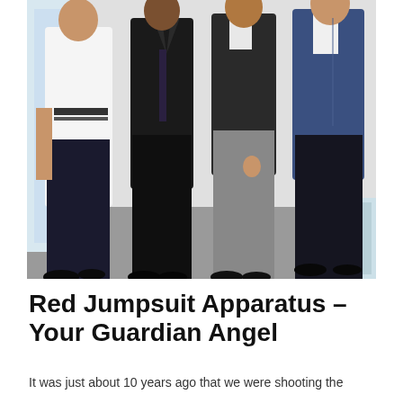[Figure (photo): Four young men standing together in a room. From left to right: one in a white shirt and dark pants, one in a dark suit, one in a dark vest and grey pants, one in a denim jacket over a white shirt and dark pants.]
Red Jumpsuit Apparatus – Your Guardian Angel
It was just about 10 years ago that we were shooting the